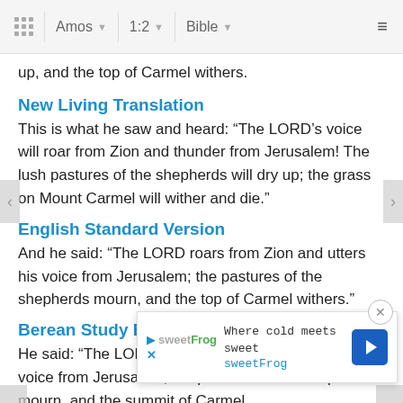Amos 1:2 Bible
up, and the top of Carmel withers.
New Living Translation
This is what he saw and heard: “The LORD’s voice will roar from Zion and thunder from Jerusalem! The lush pastures of the shepherds will dry up; the grass on Mount Carmel will wither and die.”
English Standard Version
And he said: “The LORD roars from Zion and utters his voice from Jerusalem; the pastures of the shepherds mourn, and the top of Carmel withers.”
Berean Study Bible
He said: “The LORD roars from Zion and raises His voice from Jerusalem; the pastures of the shepherds mourn, and the summit of Carmel withe
[Figure (screenshot): Advertisement banner for sweetFrog with tagline 'Where cold meets sweet' and navigation arrow icon]